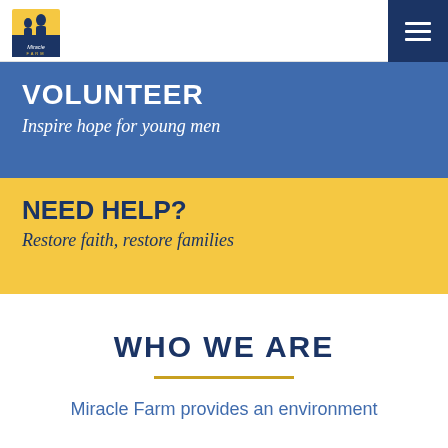[Figure (logo): Miracle Farm logo with two silhouetted figures and yellow/blue design]
Navigation bar with hamburger menu icon
VOLUNTEER
Inspire hope for young men
NEED HELP?
Restore faith, restore families
WHO WE ARE
Miracle Farm provides an environment